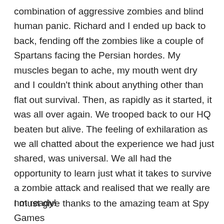combination of aggressive zombies and blind human panic. Richard and I ended up back to back, fending off the zombies like a couple of Spartans facing the Persian hordes. My muscles began to ache, my mouth went dry and I couldn't think about anything other than flat out survival. Then, as rapidly as it started, it was all over again. We trooped back to our HQ beaten but alive. The feeling of exhilaration as we all chatted about the experience we had just shared, was universal. We all had the opportunity to learn just what it takes to survive a zombie attack and realised that we really are not ready!
I must give thanks to the amazing team at Spy Games